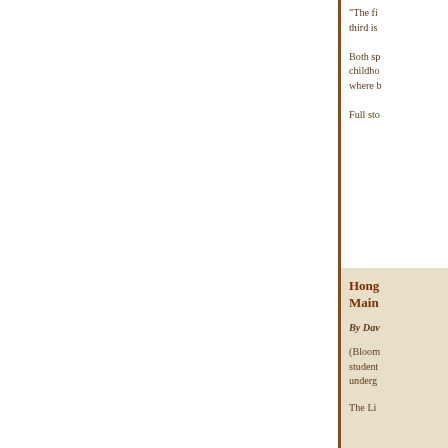“The fi... third is...
Both sp... childho... where b...
Full sto...
Hong... Main...
By Dav...
(Bloom... student... underg...
The Li...